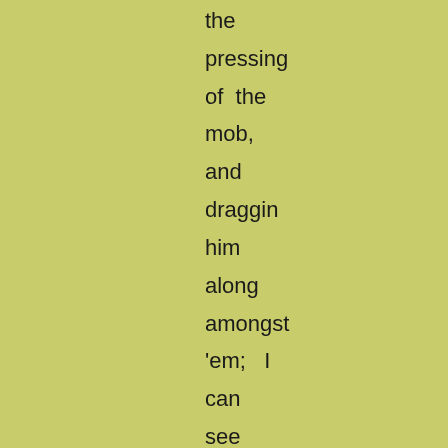the pressing of the mob, and draggin him along amongst 'em; I can see the people jumping up, one behind another,